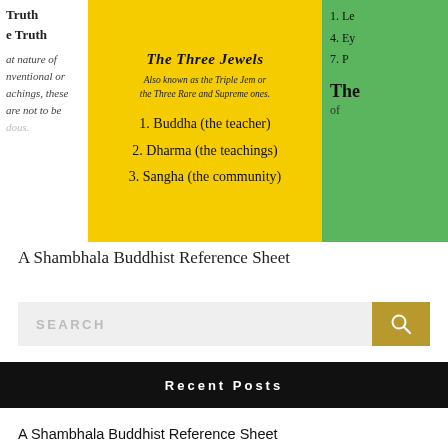[Figure (infographic): Three-panel banner: left white panel with 'Truth / e Truth / t nature of / ventional or / achings, these / are not to be / dous.' text; center yellow panel titled 'The Three Jewels' with subtitle 'Also known as the Triple Jem or the Three Rare and Supreme ones.' listing 1. Buddha (the teacher), 2. Dharma (the teachings), 3. Sangha (the community); right green panel with '1. Le / 4. Ey / 7. P' and 'The / of' text.]
A Shambhala Buddhist Reference Sheet
SEARCH
Recent Posts
A Shambhala Buddhist Reference Sheet
I AM, No Self : Redux
The Coyote’s Dilemma